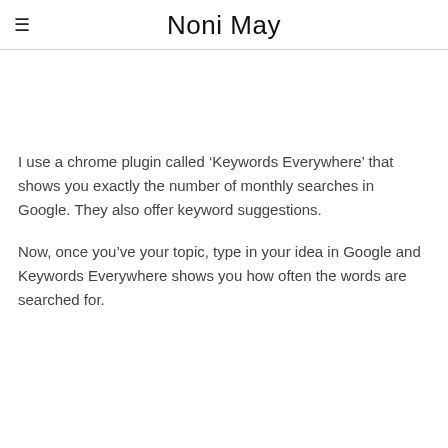Noni May
I use a chrome plugin called ‘Keywords Everywhere’ that shows you exactly the number of monthly searches in Google. They also offer keyword suggestions.
Now, once you’ve your topic, type in your idea in Google and Keywords Everywhere shows you how often the words are searched for.